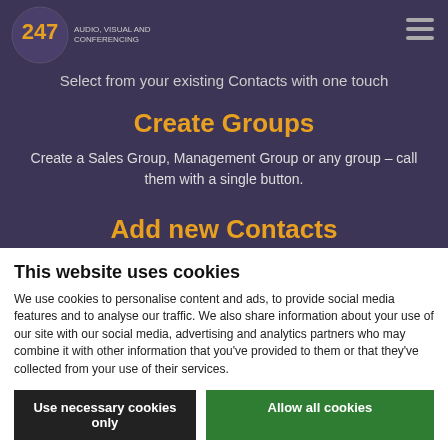[Figure (logo): 247 Meeting logo with circular badge in gold and dark colors]
Select from your existing Contacts with one touch
Create Groups
Create a Sales Group, Management Group or any group – call them with a single button.
Add new Contacts
This website uses cookies
We use cookies to personalise content and ads, to provide social media features and to analyse our traffic. We also share information about your use of our site with our social media, advertising and analytics partners who may combine it with other information that you've provided to them or that they've collected from your use of their services.
Use necessary cookies only
Allow all cookies
Show details